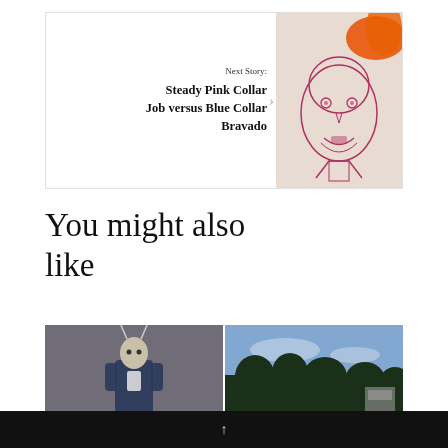Next Story:
Steady Pink Collar Job versus Blue Collar Bravado
[Figure (illustration): Drawing of a zombie-like face with red/orange ink, stylized portrait]
You might also like
[Figure (photo): Two thumbnail images side by side: left shows an anthropomorphic deer/rabbit figure in a suit; right shows trees against a blue sky]
↑